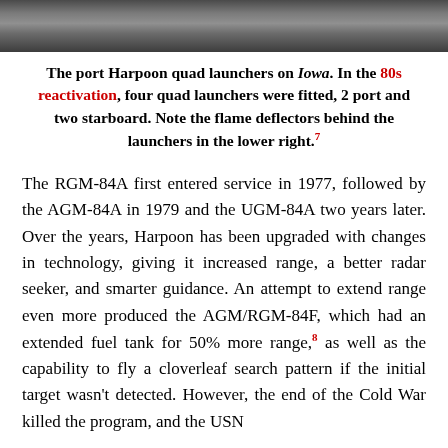[Figure (photo): Photograph of the port Harpoon quad launchers on USS Iowa, showing flame deflectors behind the launchers in the lower right.]
The port Harpoon quad launchers on Iowa. In the 80s reactivation, four quad launchers were fitted, 2 port and two starboard. Note the flame deflectors behind the launchers in the lower right.7
The RGM-84A first entered service in 1977, followed by the AGM-84A in 1979 and the UGM-84A two years later. Over the years, Harpoon has been upgraded with changes in technology, giving it increased range, a better radar seeker, and smarter guidance. An attempt to extend range even more produced the AGM/RGM-84F, which had an extended fuel tank for 50% more range,8 as well as the capability to fly a cloverleaf search pattern if the initial target wasn't detected. However, the end of the Cold War killed the program, and the USN